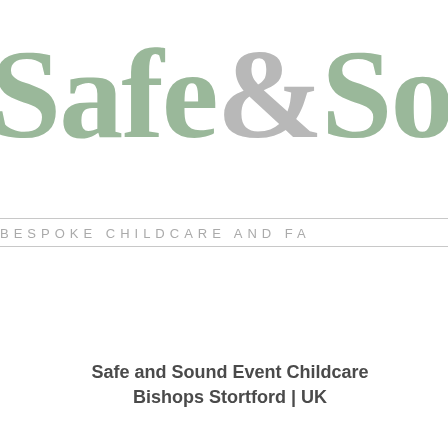[Figure (logo): Safe & Sound logo in sage green serif font with grey ampersand, large display text cropped at right edge]
BESPOKE CHILDCARE AND FA
Safe and Sound Event Childcare
Bishops Stortford | UK